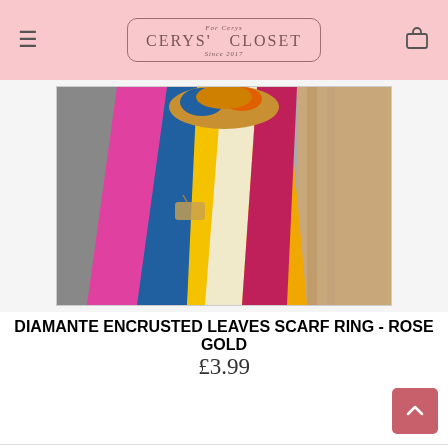Cerys' Closet — navigation header with hamburger menu and bag icon
[Figure (photo): A colorful multi-patterned scarf in yellow, blue, pink and magenta tones, folded and displayed on a wooden surface, demonstrating the scarf ring product.]
DIAMANTE ENCRUSTED LEAVES SCARF RING - ROSE GOLD
£3.99